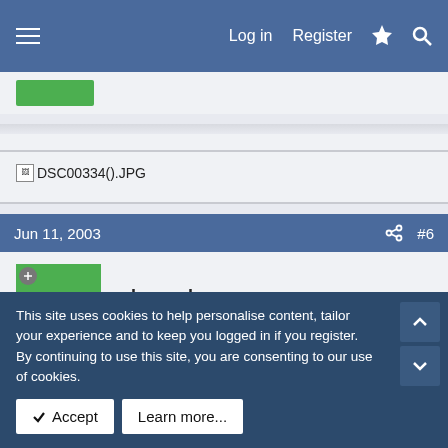Log in  Register
[Figure (screenshot): Green button element partially visible at top]
DSC00334().JPG
Jun 11, 2003  #6
wbessada
Member
shoebox.msnw
This site uses cookies to help personalise content, tailor your experience and to keep you logged in if you register.
By continuing to use this site, you are consenting to our use of cookies.
Accept    Learn more...